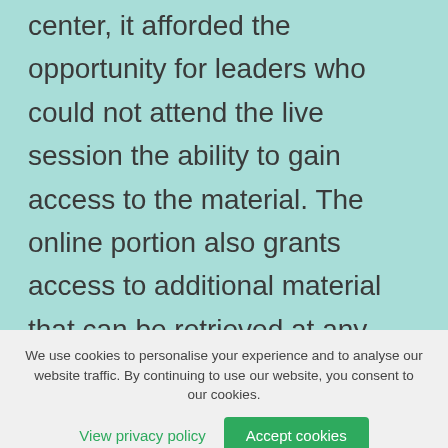learning center. By incorporating the learning center, it afforded the opportunity for leaders who could not attend the live session the ability to gain access to the material. The online portion also grants access to additional material that can be retrieved at any time. Once the apps are launched, leaders will have the training material, books, activities, and more right at their fingertips.
We use cookies to personalise your experience and to analyse our website traffic. By continuing to use our website, you consent to our cookies.
View privacy policy
Accept cookies